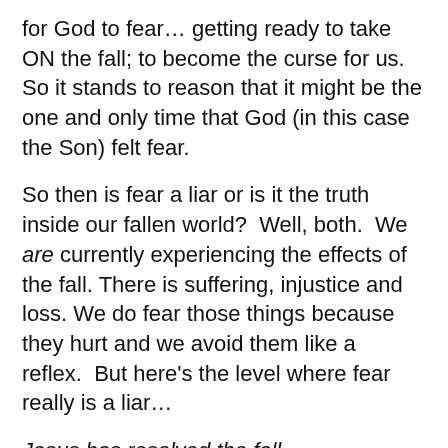for God to fear… getting ready to take ON the fall; to become the curse for us.  So it stands to reason that it might be the one and only time that God (in this case the Son) felt fear.
So then is fear a liar or is it the truth inside our fallen world?  Well, both.  We are currently experiencing the effects of the fall. There is suffering, injustice and loss. We do fear those things because they hurt and we avoid them like a reflex.  But here's the level where fear really is a liar…
Jesus has resolved the fall.
At the Cross and the empty tomb, Jesus put everything right again.  In the big reality, behind the veil where we can't see with our eyes, everything is already restored.  The enemy has been defeated, the bride has been redeemed and the entire big story has already been seen